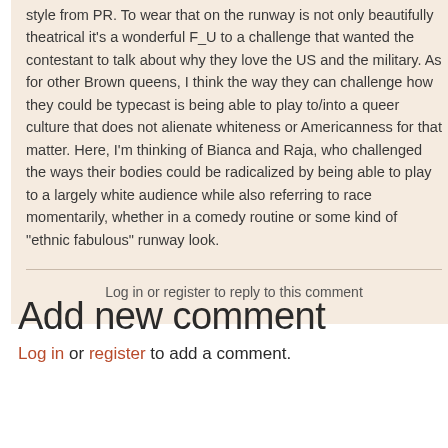style from PR. To wear that on the runway is not only beautifully theatrical it's a wonderful F_U to a challenge that wanted the contestant to talk about why they love the US and the military. As for other Brown queens, I think the way they can challenge how they could be typecast is being able to play to/into a queer culture that does not alienate whiteness or Americanness for that matter. Here, I'm thinking of Bianca and Raja, who challenged the ways their bodies could be radicalized by being able to play to a largely white audience while also referring to race momentarily, whether in a comedy routine or some kind of "ethnic fabulous" runway look.
Log in or register to reply to this comment
Add new comment
Log in or register to add a comment.